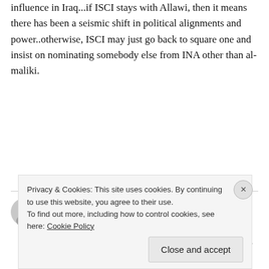influence in Iraq...if ISCI stays with Allawi, then it means there has been a seismic shift in political alignments and power..otherwise, ISCI may just go back to square one and insist on nominating somebody else from INA other than al-maliki.
Observer on Sunday, 17 October 2010 13:18 at 13:18
muhammad – This is not the first time Allawi says this (and in fact it happens to be true and not just demagoguery). And do you think Hakim
Privacy & Cookies: This site uses cookies. By continuing to use this website, you agree to their use.
To find out more, including how to control cookies, see here: Cookie Policy